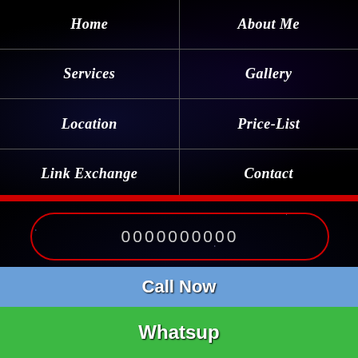| Home | About Me |
| --- | --- |
| Services | Gallery |
| Location | Price-List |
| Link Exchange | Contact |
0000000000
TYPE OF SRIKALAHASTI ESCORTS
Call Now
Whatsup